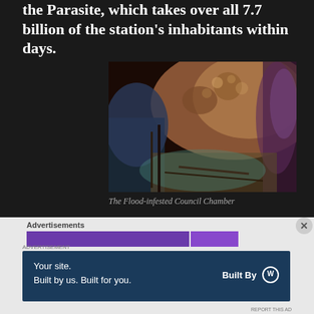the Parasite, which takes over all 7.7 billion of the station's inhabitants within days.
[Figure (photo): A Flood-infested Council Chamber scene from a video game, showing organic growth and alien architecture in brown, orange, teal, and purple tones.]
The Flood-infested Council Chamber
Advertisements
[Figure (screenshot): Advertisement banner showing purple bar]
[Figure (screenshot): WordPress advertisement: 'Your site. Built by us. Built for you.' with Built By WordPress logo]